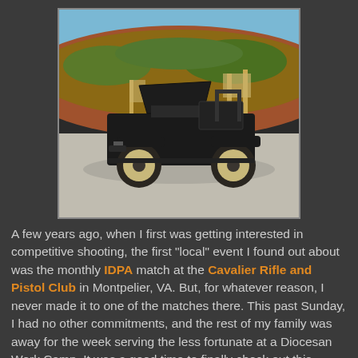[Figure (photo): A black military-style jeep/vehicle with hood open, parked on a gravel surface at what appears to be a shooting range, with earthen berm and wooden target stands visible in the background under a blue sky.]
A few years ago, when I first was getting interested in competitive shooting, the first "local" event I found out about was the monthly IDPA match at the Cavalier Rifle and Pistol Club in Montpelier, VA. But, for whatever reason, I never made it to one of the matches there. This past Sunday, I had no other commitments, and the rest of my family was away for the week serving the less fortunate at a Diocesan Work Camp. It was a good time to finally check out this